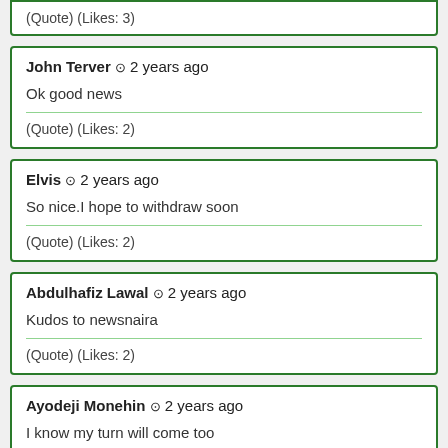(Quote) (Likes: 3)
John Terver ⊙ 2 years ago
Ok good news
(Quote) (Likes: 2)
Elvis ⊙ 2 years ago
So nice.I hope to withdraw soon
(Quote) (Likes: 2)
Abdulhafiz Lawal ⊙ 2 years ago
Kudos to newsnaira
(Quote) (Likes: 2)
Ayodeji Monehin ⊙ 2 years ago
I know my turn will come too